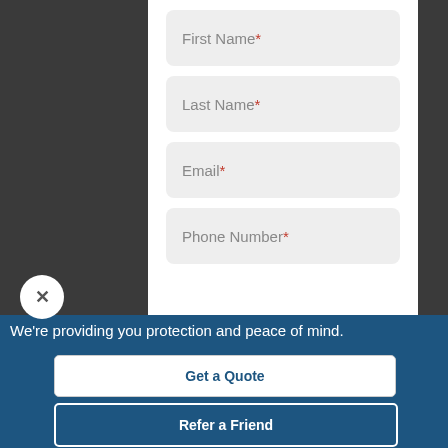First Name *
Last Name *
Email *
Phone Number *
We're providing you protection and peace of mind.
Get a Quote
Refer a Friend